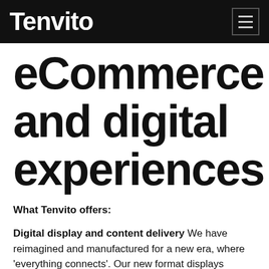Tenvito
eCommerce and digital experiences
What Tenvito offers:
Digital display and content delivery We have reimagined and manufactured for a new era, where 'everything connects'. Our new format displays